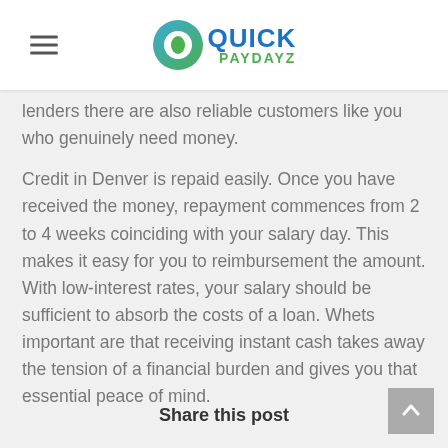Quick Paydayz
lenders there are also reliable customers like you who genuinely need money.
Credit in Denver is repaid easily. Once you have received the money, repayment commences from 2 to 4 weeks coinciding with your salary day. This makes it easy for you to reimbursement the amount. With low-interest rates, your salary should be sufficient to absorb the costs of a loan. Whets important are that receiving instant cash takes away the tension of a financial burden and gives you that essential peace of mind.
Share this post